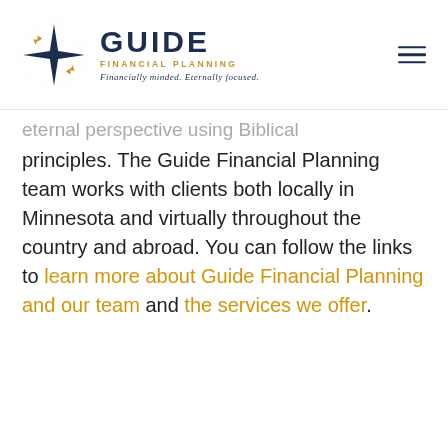GUIDE FINANCIAL PLANNING — Financially minded. Eternally focused.
[Figure (logo): Guide Financial Planning logo with four-pointed star and gold accent arrows, company name in dark navy]
eternal perspective using Biblical principles. The Guide Financial Planning team works with clients both locally in Minnesota and virtually throughout the country and abroad. You can follow the links to learn more about Guide Financial Planning and our team and the services we offer.